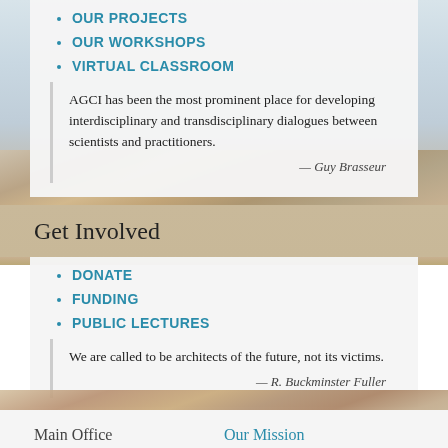OUR PROJECTS
OUR WORKSHOPS
VIRTUAL CLASSROOM
AGCI has been the most prominent place for developing interdisciplinary and transdisciplinary dialogues between scientists and practitioners.
— Guy Brasseur
Get Involved
DONATE
FUNDING
PUBLIC LECTURES
We are called to be architects of the future, not its victims.
— R. Buckminster Fuller
Main Office
Our Mission